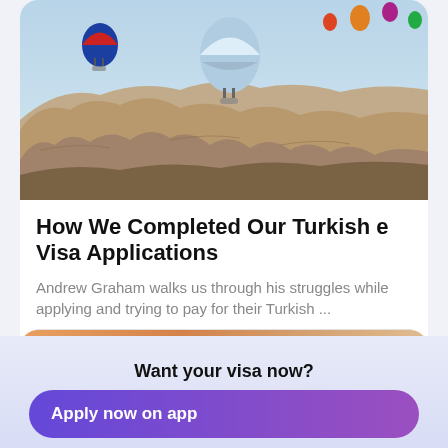[Figure (photo): Aerial photo of Cappadocia, Turkey, showing rocky landscape with hot air balloons floating in the sky]
How We Completed Our Turkish e Visa Applications
Andrew Graham walks us through his struggles while applying and trying to pay for their Turkish ...
Andrew Graham
[Figure (photo): Partially visible photo showing a warm sunset sky with clouds in orange and pink tones]
Want your visa now?
Apply now on app